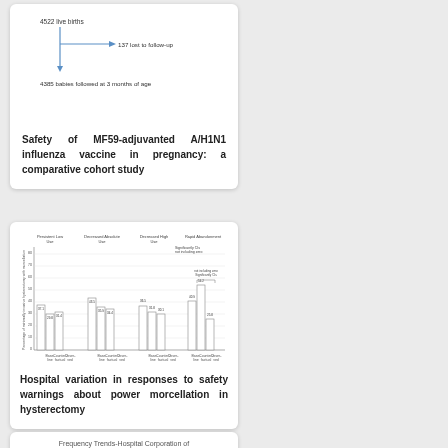[Figure (flowchart): Flowchart showing 4522 live births with 137 lost to follow-up arrow branching right, and down arrow to 4385 babies followed at 3 months of age]
Safety of MF59-adjuvanted A/H1N1 influenza vaccine in pregnancy: a comparative cohort study
[Figure (grouped-bar-chart): Bar chart showing hospital variation in responses to safety warnings about power morcellation in hysterectomy across Persistent Low, Decreased Absolute, Decreased High, and Rapid Abandonment categories]
Hospital variation in responses to safety warnings about power morcellation in hysterectomy
[Figure (other): Partial figure showing Frequency Trends-Hospital Corporation of...]